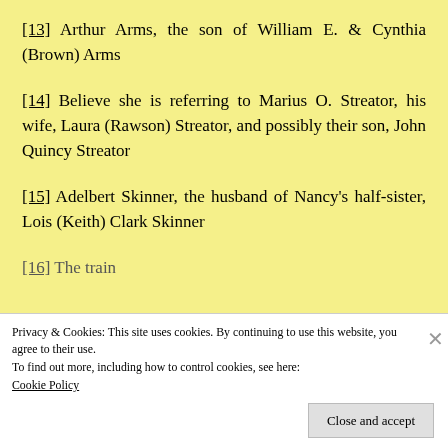[13] Arthur Arms, the son of William E. & Cynthia (Brown) Arms
[14] Believe she is referring to Marius O. Streator, his wife, Laura (Rawson) Streator, and possibly their son, John Quincy Streator
[15] Adelbert Skinner, the husband of Nancy's half-sister, Lois (Keith) Clark Skinner
[16] The train
Privacy & Cookies: This site uses cookies. By continuing to use this website, you agree to their use.
To find out more, including how to control cookies, see here:
Cookie Policy